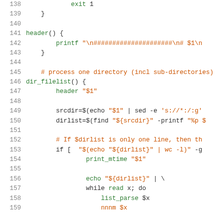Code listing lines 138-158, shell script showing exit, header(), dir_filelist() function definitions with printf, srcdir, dirlist, if, echo, while, list_parse commands